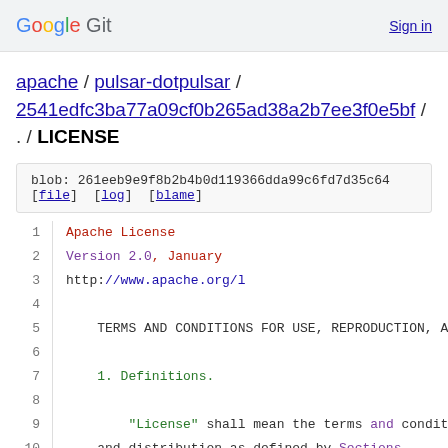Google Git   Sign in
apache / pulsar-dotpulsar / 2541edfc3ba77a09cf0b265ad38a2b7ee3f0e5bf / . / LICENSE
blob: 261eeb9e9f8b2b4b0d119366dda99c6fd7d35c64
[file] [log] [blame]
1    Apache License
2    Version 2.0, January
3    http://www.apache.org/l
4    
5    TERMS AND CONDITIONS FOR USE, REPRODUCTION, A
6    
7    1. Definitions.
8    
9    "License" shall mean the terms and condit
10   and distribution as defined by Sections